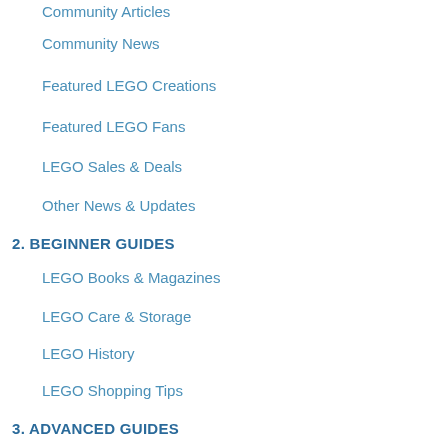Community Articles
Community News
Featured LEGO Creations
Featured LEGO Fans
LEGO Sales & Deals
Other News & Updates
2. BEGINNER GUIDES
LEGO Books & Magazines
LEGO Care & Storage
LEGO History
LEGO Shopping Tips
3. ADVANCED GUIDES
Building Techniques
LEGO Customization